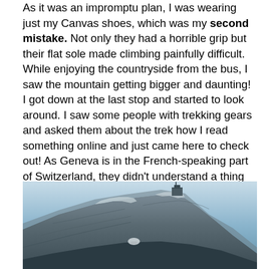As it was an impromptu plan, I was wearing just my Canvas shoes, which was my second mistake. Not only they had a horrible grip but their flat sole made climbing painfully difficult. While enjoying the countryside from the bus, I saw the mountain getting bigger and daunting! I got down at the last stop and started to look around. I saw some people with trekking gears and asked them about the trek how I read something online and just came here to check out! As Geneva is in the French-speaking part of Switzerland, they didn't understand a thing of what I was asking. I decided to follow my instincts (and a big group of people!)
[Figure (photo): Outdoor mountain landscape photo showing a steep rocky mountain slope with snow/rock textures against a clear blue sky. A building or structure is visible at the mountain top. The photo has a cold, bluish tone.]